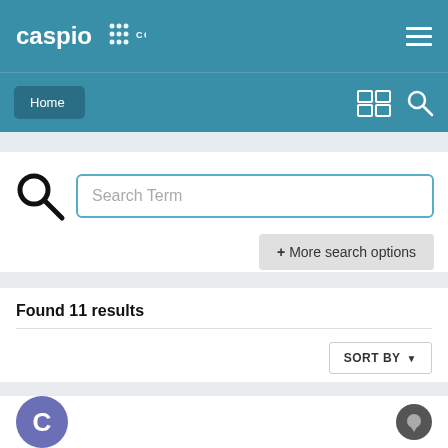caspio COMMUNITY FORUMS
[Figure (screenshot): Navigation bar with Home button, grid/list view icon, and search icon on teal background]
[Figure (screenshot): Search bar with large magnifying glass icon and text input labeled 'Search Term', plus '+ More search options' button]
Found 11 results
[Figure (screenshot): Sort by dropdown button]
[Figure (screenshot): User avatar circle with letter C and chat bubble icon at bottom of page]